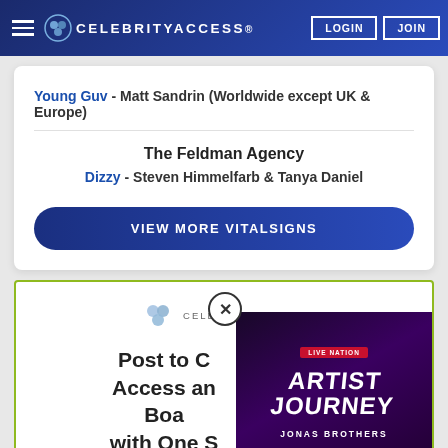CelebrityAccess
Young Guv - Matt Sandrin (Worldwide except UK & Europe)
The Feldman Agency
Dizzy - Steven Himmelfarb & Tanya Daniel
VIEW MORE VITALSIGNS
[Figure (screenshot): CelebrityAccess logo small]
Post to Celebrity Access and Board with One S...
[Figure (screenshot): Live Nation Artist Journey Jonas Brothers video overlay]